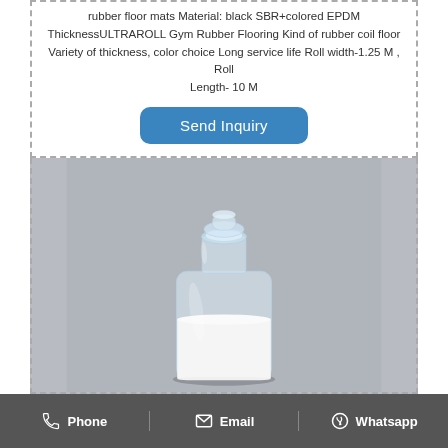rubber floor mats Material: black SBR+colored EPDM ThicknessULTRAROLL Gym Rubber Flooring Kind of rubber coil floor Variety of thickness, color choice Long service life Roll width-1.25 M , Roll Length- 10 M
[Figure (other): Blue rounded rectangle button with white text reading 'Send Inquiry']
[Figure (photo): A clear glass jar/bottle containing white powder, photographed against a gray background]
Phone  Email  Whatsapp